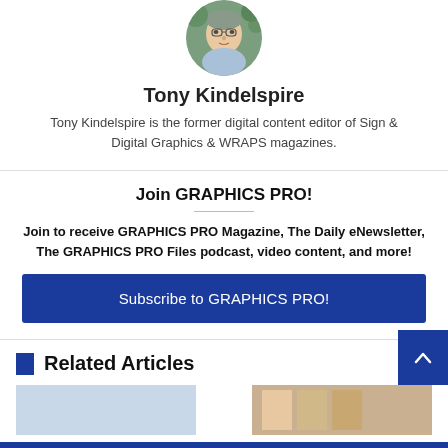[Figure (photo): Circular headshot photo of Tony Kindelspire]
Tony Kindelspire
Tony Kindelspire is the former digital content editor of Sign & Digital Graphics & WRAPS magazines.
Join GRAPHICS PRO!
Join to receive GRAPHICS PRO Magazine, The Daily eNewsletter, The GRAPHICS PRO Files podcast, video content, and more!
Subscribe to GRAPHICS PRO!
Related Articles
[Figure (photo): Thumbnail images of related articles at the bottom]